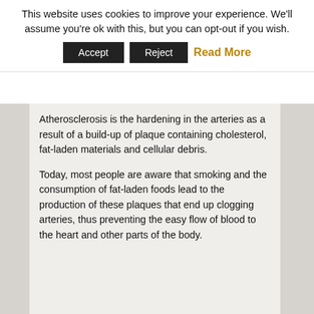This website uses cookies to improve your experience. We'll assume you're ok with this, but you can opt-out if you wish.
Accept   Reject   Read More
Atherosclerosis is the hardening in the arteries as a result of a build-up of plaque containing cholesterol, fat-laden materials and cellular debris.
Today, most people are aware that smoking and the consumption of fat-laden foods lead to the production of these plaques that end up clogging arteries, thus preventing the easy flow of blood to the heart and other parts of the body.